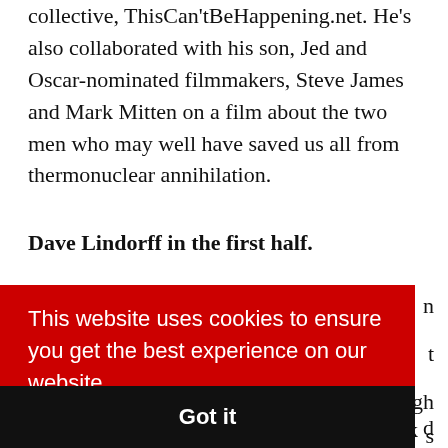collective, ThisCan'tBeHappening.net. He's also collaborated with his son, Jed and Oscar-nominated filmmakers, Steve James and Mark Mitten on a film about the two men who may well have saved us all from thermonuclear annihilation.
Dave Lindorff in the first half.
This website uses cookies to ensure you get the best experience on our website. Learn more
Got it
don't think of it most of the time. Next week